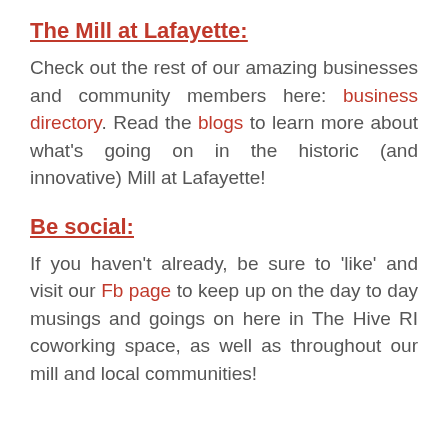The Mill at Lafayette:
Check out the rest of our amazing businesses and community members here: business directory. Read the blogs to learn more about what's going on in the historic (and innovative) Mill at Lafayette!
Be social:
If you haven't already, be sure to 'like' and visit our Fb page to keep up on the day to day musings and goings on here in The Hive RI coworking space, as well as throughout our mill and local communities!